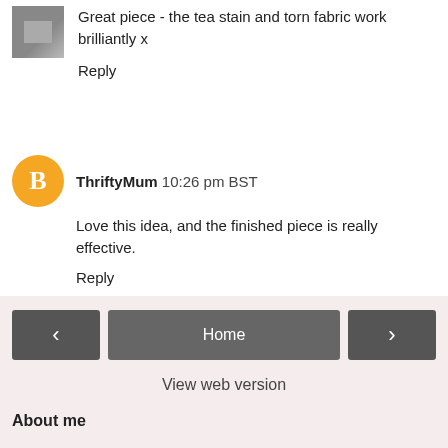Great piece - the tea stain and torn fabric work brilliantly x
Reply
ThriftyMum 10:26 pm BST
Love this idea, and the finished piece is really effective.
Reply
To leave a comment, click the button below to sign in with Google.
SIGN IN WITH GOOGLE
Home
View web version
About me